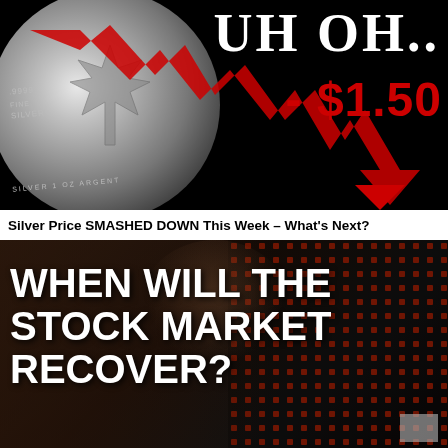[Figure (infographic): Black background image showing a silver Canadian maple leaf coin with a large red downward arrow overlaid. Text reads 'UH OH..' in white serif font and '- $1.50' in bold red.]
Silver Price SMASHED DOWN This Week – What's Next?
[Figure (infographic): Dark image of a person reflected in glass with red LED stock ticker board in background. Bold white text reads 'WHEN WILL THE STOCK MARKET RECOVER?']